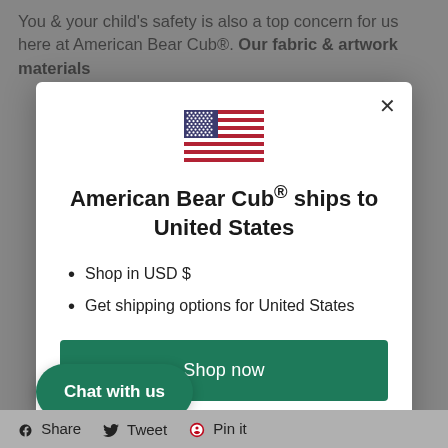You & your child's safety is also a top concern for us here at American Bear Cub®. Our fabric & artwork materials
[Figure (illustration): US flag SVG inline illustration inside modal popup]
American Bear Cub® ships to United States
Shop in USD $
Get shipping options for United States
Shop now
Change shipping country
Chat with us
Share   Tweet   Pin it